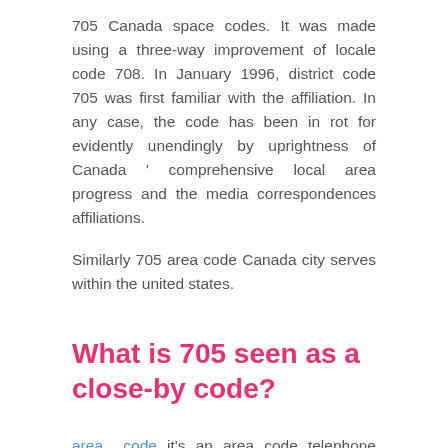705 Canada space codes. It was made using a three-way improvement of locale code 708. In January 1996, district code 705 was first familiar with the affiliation. In any case, the code has been in rot for evidently unendingly by uprightness of Canada ' comprehensive local area progress and the media correspondences affiliations.
Similarly 705 area code Canada city serves within the united states.
What is 705 seen as a close-by code?
area code it's an area code telephone number of United States Country. Contemplating the creating usage of media correspondences, phones are ending